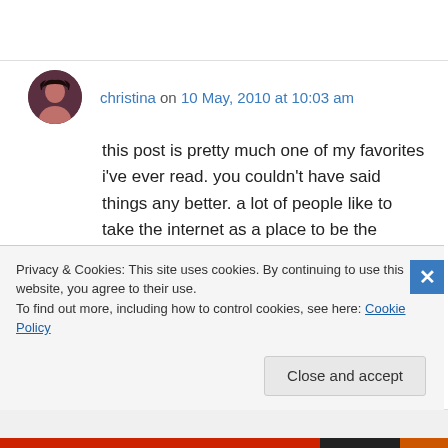christina on 10 May, 2010 at 10:03 am
this post is pretty much one of my favorites i've ever read. you couldn't have said things any better. a lot of people like to take the internet as a place to be the person they *try* to be in real life, but aren't able to. i can admit that for myself, it's easier for me to open up through blogs and online in general, because i can be rather shy in
Privacy & Cookies: This site uses cookies. By continuing to use this website, you agree to their use.
To find out more, including how to control cookies, see here: Cookie Policy